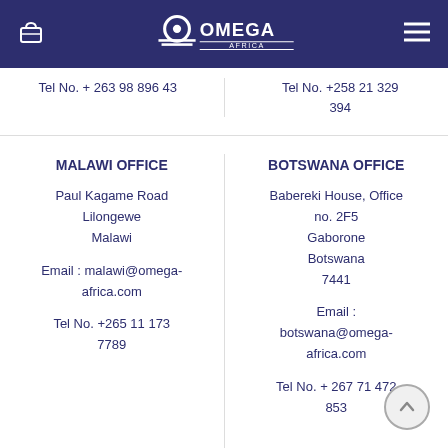Omega Africa
Tel No. + 263 98 896 43
Tel No. +258 21 329 394
MALAWI OFFICE
Paul Kagame Road
Lilongewe
Malawi
Email : malawi@omega-africa.com
Tel No. +265 11 173 7789
BOTSWANA OFFICE
Babereki House, Office no. 2F5
Gaborone
Botswana
7441
Email : botswana@omega-africa.com
Tel No. + 267 71 472 853